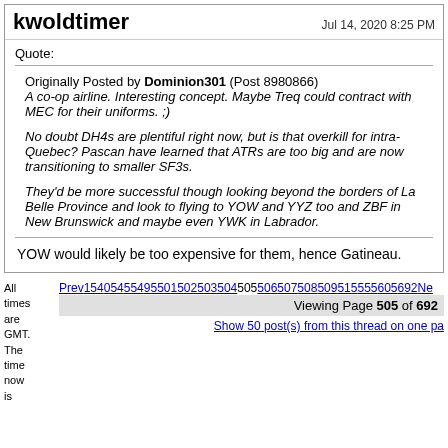kwoldtimer
Jul 14, 2020 8:25 PM
Quote:
Originally Posted by Dominion301 (Post 8980866)
A co-op airline. Interesting concept. Maybe Treq could contract with MEC for their uniforms. ;)

No doubt DH4s are plentiful right now, but is that overkill for intra-Quebec? Pascan have learned that ATRs are too big and are now transitioning to smaller SF3s.

They'd be more successful though looking beyond the borders of La Belle Province and look to flying to YOW and YYZ too and ZBF in New Brunswick and maybe even YWK in Labrador.
YOW would likely be too expensive for them, hence Gatineau.
All times are GMT. The time now is
Prev154054554955015025035045055065075085095155556056922Next
Viewing Page 505 of 692
Show 50 post(s) from this thread on one page